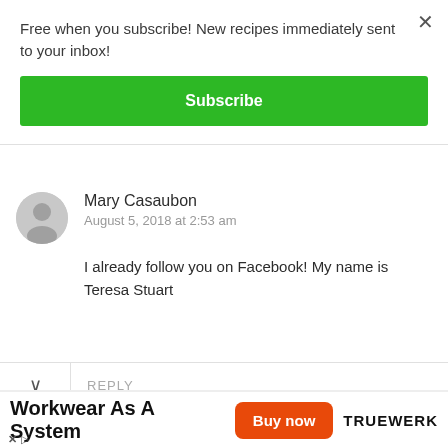Free when you subscribe! New recipes immediately sent to your inbox!
Subscribe
Mary Casaubon
August 5, 2018 at 2:53 am
I already follow you on Facebook! My name is Teresa Stuart
REPLY
Workwear As A System
Buy now
TRUEWERK